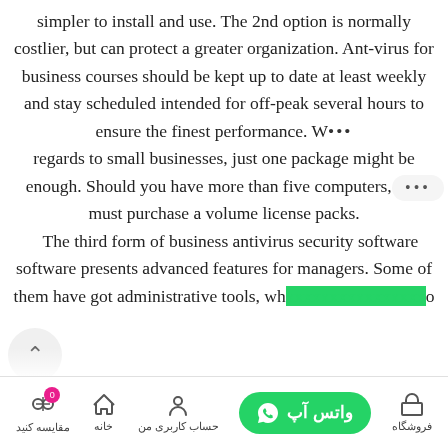simpler to install and use. The 2nd option is normally costlier, but can protect a greater organization. Ant-virus for business courses should be kept up to date at least weekly and stay scheduled intended for off-peak several hours to ensure the finest performance. With regards to small businesses, just one package might be enough. Should you have more than five computers, you must purchase a volume license packs. The third form of business antivirus security software software presents advanced features for managers. Some of them have got administrative tools, wh… o
فروشگاه | حساب کاربری من | خانه | مقایسه کنید | واتس آپ